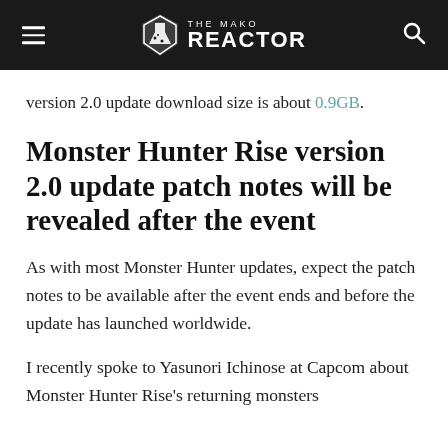THE MAKO REACTOR
version 2.0 update download size is about 0.9GB.
Monster Hunter Rise version 2.0 update patch notes will be revealed after the event
As with most Monster Hunter updates, expect the patch notes to be available after the event ends and before the update has launched worldwide.
I recently spoke to Yasunori Ichinose at Capcom about Monster Hunter Rise's returning monsters and here are all the following things that were told